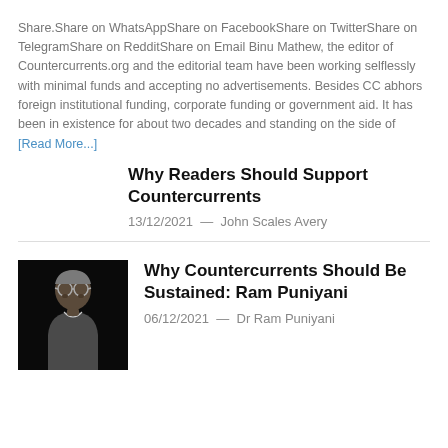Share.Share on WhatsAppShare on FacebookShare on TwitterShare on TelegramShare on RedditShare on Email Binu Mathew, the editor of Countercurrents.org and the editorial team have been working selflessly with minimal funds and accepting no advertisements. Besides CC abhors foreign institutional funding, corporate funding or government aid. It has been in existence for about two decades and standing on the side of [Read More...]
Why Readers Should Support Countercurrents
13/12/2021  —  John Scales Avery
[Figure (photo): Portrait photo of an elderly man with glasses against a black background, wearing a grey vest]
Why Countercurrents Should Be Sustained: Ram Puniyani
06/12/2021  —  Dr Ram Puniyani